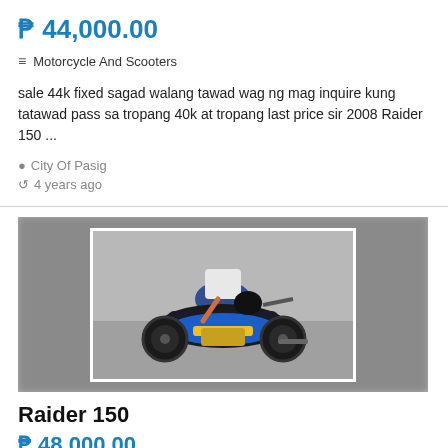₱ 44,000.00
Motorcycle And Scooters
sale 44k fixed sagad walang tawad wag ng mag inquire kung tatawad pass sa tropang 40k at tropang last price sir 2008 Raider 150 ...
City Of Pasig
4 years ago
[Figure (photo): Photo of a blue Raider 150 motorcycle with a person sitting on it, shown from an overhead angle in a blurred background composite image]
Raider 150
₱ 48,000.00
Motorcycle And Scooters